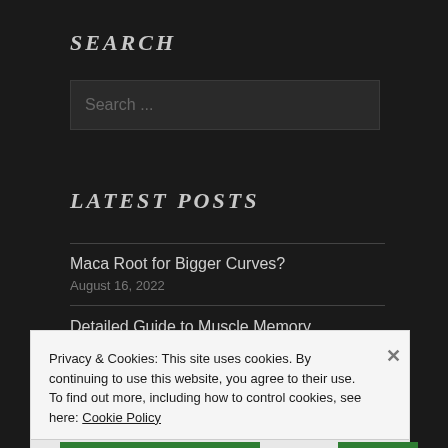SEARCH
Search ...
LATEST POSTS
Maca Root for Bigger Curves?
August 16, 2022
Detailed Guide to Muscle Memory
Privacy & Cookies: This site uses cookies. By continuing to use this website, you agree to their use.
To find out more, including how to control cookies, see here: Cookie Policy
Close and accept